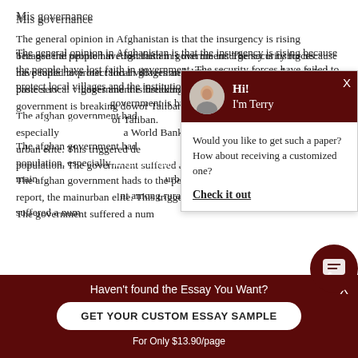Mis governance
The general opinion in Afghanistan is that the insurgency is rising because the people have lost faith in government. The security forces have failed to protect local villages and the institutions struggle to deliver basic services. The credibility of the government is breaking down and the people are turning to the support of Taliban.
The afghan government had a limited capacity to deliver services to the population, especially in rural areas. According to a World Bank report, the main beneficiaries of aid were the urban elite. This triggered deep resentment and discontent among rural population. The government suffered a num...
[Figure (screenshot): Chat popup with avatar photo of Terry, greeting 'Hi! I'm Terry', question 'Would you like to get such a paper? How about receiving a customized one?' with Check it out link]
[Figure (screenshot): Bottom dark red banner with text Haven't found the Essay You Want?, GET YOUR CUSTOM ESSAY SAMPLE button, and For Only $13.90/page text]